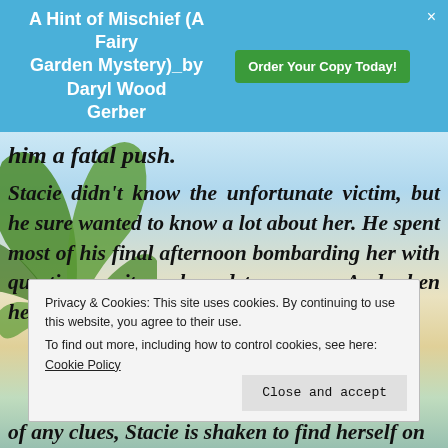A Hint of Mischief (A Fairy Garden Mystery)_by Daryl Wood Gerber
him a fatal push.
Stacie didn't know the unfortunate victim, but he sure wanted to know a lot about her. He spent most of his final afternoon bombarding her with questions quite awkward to answer. And when he wasn't in her hair, he was arguing
of any clues, Stacie is shaken to find herself on
Privacy & Cookies: This site uses cookies. By continuing to use this website, you agree to their use.
To find out more, including how to control cookies, see here:
Cookie Policy